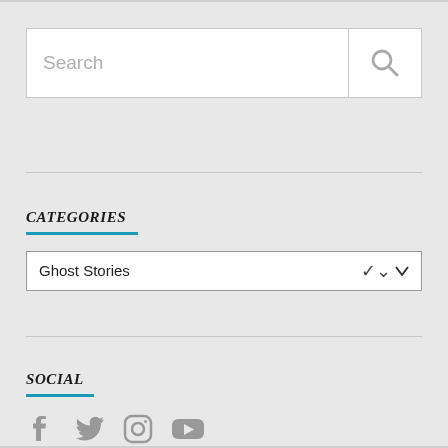[Figure (screenshot): Search input box with placeholder text 'Search' and a magnifying glass icon button on the right]
CATEGORIES
[Figure (screenshot): Dropdown selector showing 'Ghost Stories' with a chevron/arrow on the right]
SOCIAL
[Figure (screenshot): Social media icons: Facebook, Twitter, Instagram, YouTube in gray]